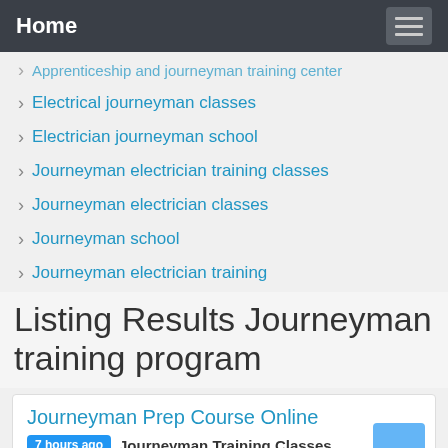Home
Apprenticeship and journeyman training center
Electrical journeyman classes
Electrician journeyman school
Journeyman electrician training classes
Journeyman electrician classes
Journeyman school
Journeyman electrician training
Listing Results Journeyman training program
Journeyman Prep Course Online
7 hours ago  Journeyman Training Classes  Freeonlinecourses.com. Texas. Texas Journeyman